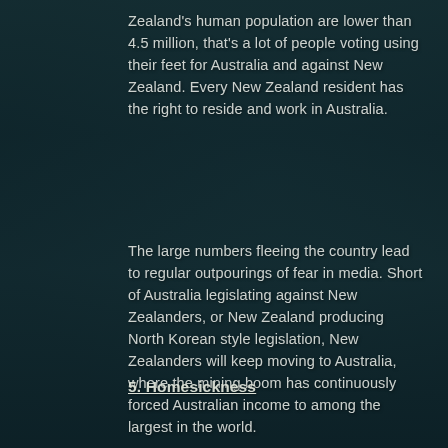Zealand's human population are lower than 4.5 million, that's a lot of people voting using their feet for Australia and against New Zealand. Every New Zealand resident has the right to reside and work in Australia.
The large numbers fleeing the country lead to regular outpourings of fear in media. Short of Australia legislating against New Zealanders, or New Zealand producing North Korean style legislation, New Zealanders will keep moving to Australia, where the mining boom has continuously forced Australian income to among the largest in the world.
5. Homesickness